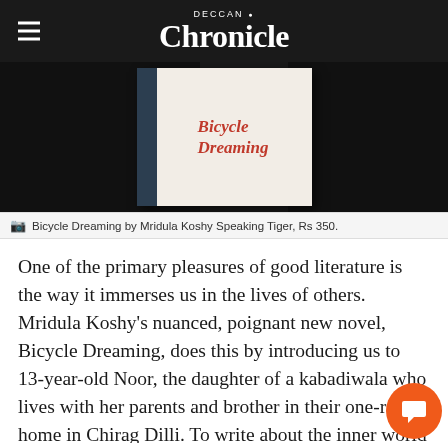DECCAN Chronicle
[Figure (photo): Book cover of 'Bicycle Dreaming' on a dark background]
Bicycle Dreaming by Mridula Koshy Speaking Tiger, Rs 350.
One of the primary pleasures of good literature is the way it immerses us in the lives of others. Mridula Koshy's nuanced, poignant new novel, Bicycle Dreaming, does this by introducing us to 13-year-old Noor, the daughter of a kabadiwala who lives with her parents and brother in their one-room home in Chirag Dilli. To write about the inner world of a young child requires empathic skill, and Koshy rises to the challenge and raises the stakes further by setting the story within a subtext of near-poverty. For the kabadiwala's profession is fast fading under pressures of a modernising society and will go Mohammad Saidullah's way of life and means to sustain a family...